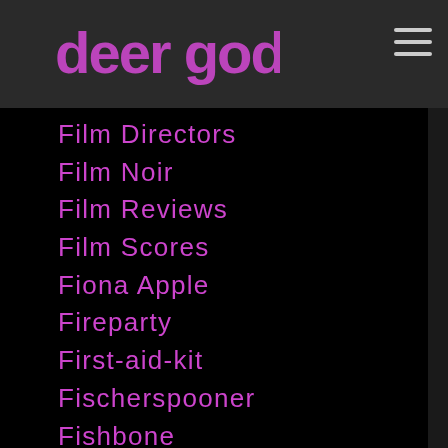deer god
Film Directors
Film Noir
Film Reviews
Film Scores
Fiona Apple
Fireparty
First-aid-kit
Fischerspooner
Fishbone
Fitzcarraldo
Five-satins
Fka-twigs
Flagship-brewery
Flamenco
Flaming Lips
Flamingos
Flannery-oconnor